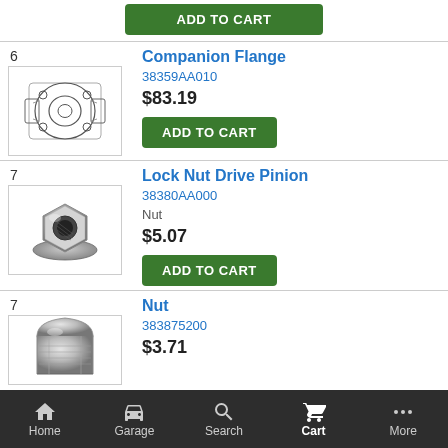[Figure (other): ADD TO CART green button at top of page (partial, from previous item)]
[Figure (illustration): Companion Flange part illustration - line drawing of a circular flanged connector with holes]
6
Companion Flange
38359AA010
$83.19
[Figure (other): ADD TO CART green button]
[Figure (photo): Lock Nut Drive Pinion part photo - silver metallic hex flange nut]
7
Lock Nut Drive Pinion
38380AA000
Nut
$5.07
[Figure (other): ADD TO CART green button]
[Figure (photo): Nut part photo - silver metallic cap nut (partial, bottom cut off)]
7
Nut
383875200
$3.71
Home  Garage  Search  Cart  More